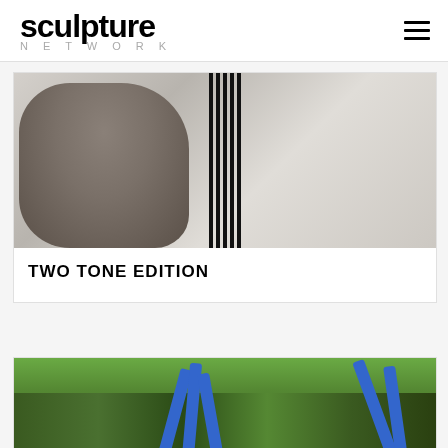sculpture NETWORK
[Figure (photo): A man bending over and holding several thin black vertical rods/bars, wearing a grey t-shirt, against a light grey background.]
TWO TONE EDITION
[Figure (photo): Close-up of blue curved sculptural tubes/rods among tropical plants with yellow flowering fronds and green foliage.]